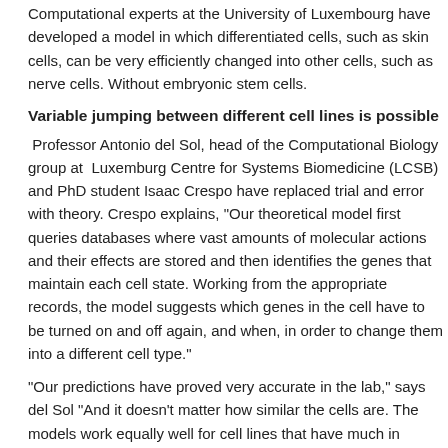Computational experts at the University of Luxembourg have developed a model in which differentiated cells, such as skin cells, can be very efficiently changed into other cells, such as nerve cells. Without embryonic stem cells.
Variable jumping between different cell lines is possible
Professor Antonio del Sol, head of the Computational Biology group at Luxembourg Centre for Systems Biomedicine (LCSB) and PhD student Isaac Crespo have replaced trial and error with theory. Crespo explains, "Our theoretical model first queries databases where vast amounts of data on molecular actions and their effects are stored and then identifies the genes that maintain each cell state. Working from the appropriate records, the model suggests which genes in the cell have to be turned on and off again, and when, in order to change them into a different cell type."
"Our predictions have proved very accurate in the lab," says del Sol "And it doesn't matter how similar the cells are. The models work equally well for cell lines that have much in common with another as for those that are already very far apart."
They say their model allows highly variable jumping between very different cell types, without stem cells. Biologists and medical scientists still have their lab work cut out for them, applying growth factors that initiate the respective genetic activities in the correct, pre-defined order.
Citation: Isaac Crespo and Antonio del Sol, 'A General Strategy for Cellular Reprogramming'